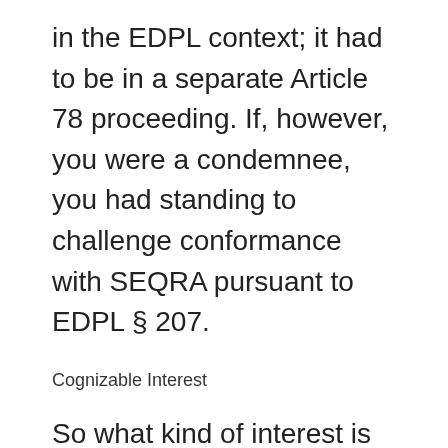in the EDPL context; it had to be in a separate Article 78 proceeding. If, however, you were a condemnee, you had standing to challenge conformance with SEQRA pursuant to EDPL § 207.
Cognizable Interest
So what kind of interest is cognizable for standing purposes under EDPL? Justice Abraham Gerges dealt with that problem in